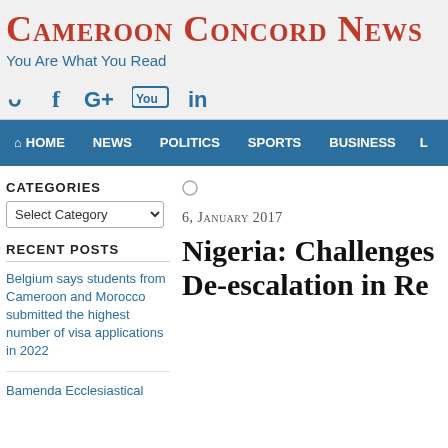Cameroon Concord News
You Are What You Read
[Figure (other): Social media icons: Twitter, Facebook, Google+, YouTube, LinkedIn]
HOME  NEWS  POLITICS  SPORTS  BUSINESS  L
CATEGORIES
Select Category
RECENT POSTS
Belgium says students from Cameroon and Morocco submitted the highest number of visa applications in 2022
Bamenda Ecclesiastical Province: Bishops Decry
6, January 2017
Nigeria: Challenges De-escalation in Re